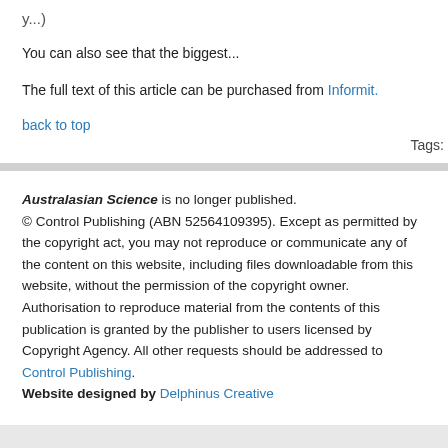y...)
You can also see that the biggest...
The full text of this article can be purchased from Informit.
back to top
Tags:
Australasian Science is no longer published. © Control Publishing (ABN 52564109395). Except as permitted by the copyright act, you may not reproduce or communicate any of the content on this website, including files downloadable from this website, without the permission of the copyright owner. Authorisation to reproduce material from the contents of this publication is granted by the publisher to users licensed by Copyright Agency. All other requests should be addressed to Control Publishing. Website designed by Delphinus Creative